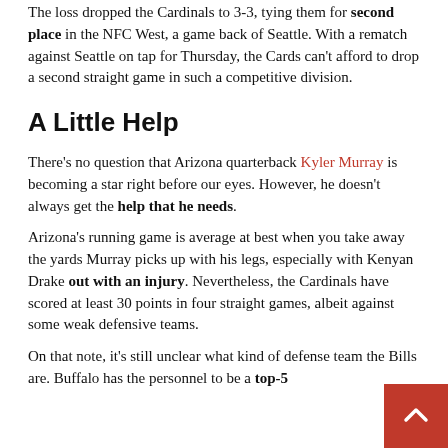The loss dropped the Cardinals to 3-3, tying them for second place in the NFC West, a game back of Seattle. With a rematch against Seattle on tap for Thursday, the Cards can't afford to drop a second straight game in such a competitive division.
A Little Help
There's no question that Arizona quarterback Kyler Murray is becoming a star right before our eyes. However, he doesn't always get the help that he needs.
Arizona's running game is average at best when you take away the yards Murray picks up with his legs, especially with Kenyan Drake out with an injury. Nevertheless, the Cardinals have scored at least 30 points in four straight games, albeit against some weak defensive teams.
On that note, it's still unclear what kind of defense team the Bills are. Buffalo has the personnel to be a top-5